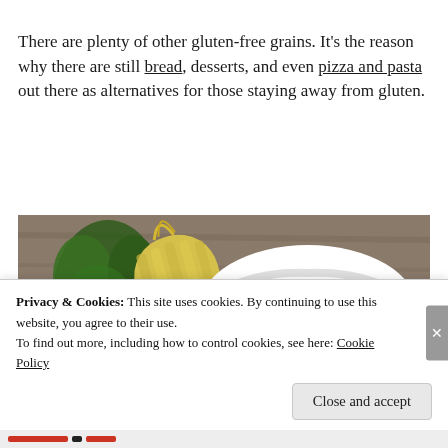There are plenty of other gluten-free grains. It's the reason why there are still bread, desserts, and even pizza and pasta out there as alternatives for those staying away from gluten.
[Figure (photo): Photo of a corn cob, green parsley herb, and a white bowl filled with yellow corn kernels on a wooden surface]
Privacy & Cookies: This site uses cookies. By continuing to use this website, you agree to their use.
To find out more, including how to control cookies, see here: Cookie Policy
Close and accept